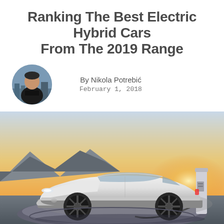Ranking The Best Electric Hybrid Cars From The 2019 Range
By Nikola Potrebić
February 1, 2018
[Figure (photo): A sleek white electric/hybrid sports car (Porsche Mission E concept) plugged into a charging station, parked on a futuristic circular platform with rocky mountains and a golden sunset sky in the background.]